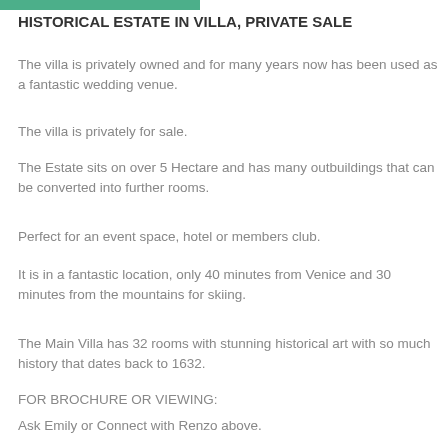HISTORICAL ESTATE IN VILLA, PRIVATE SALE
The villa is privately owned and for many years now has been used as a fantastic wedding venue.
The villa is privately for sale.
The Estate sits on over 5 Hectare and has many outbuildings that can be converted into further rooms.
Perfect for an event space, hotel or members club.
It is in a fantastic location, only 40 minutes from Venice and 30 minutes from the mountains for skiing.
The Main Villa has 32 rooms with stunning historical art with so much history that dates back to 1632.
FOR BROCHURE OR VIEWING:
Ask Emily or Connect with Renzo above.